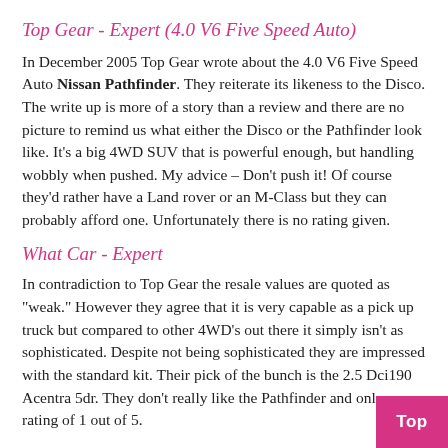Top Gear - Expert (4.0 V6 Five Speed Auto)
In December 2005 Top Gear wrote about the 4.0 V6 Five Speed Auto Nissan Pathfinder. They reiterate its likeness to the Disco. The write up is more of a story than a review and there are no picture to remind us what either the Disco or the Pathfinder look like. It’s a big 4WD SUV that is powerful enough, but handling wobbly when pushed. My advice – Don’t push it! Of course they’d rather have a Land rover or an M-Class but they can probably afford one. Unfortunately there is no rating given.
What Car - Expert
In contradiction to Top Gear the resale values are quoted as “weak.” However they agree that it is very capable as a pick up truck but compared to other 4WD’s out there it simply isn’t as sophisticated. Despite not being sophisticated they are impressed with the standard kit. Their pick of the bunch is the 2.5 Dci190 Acentra 5dr. They don’t really like the Pathfinder and only a rating of 1 out of 5.